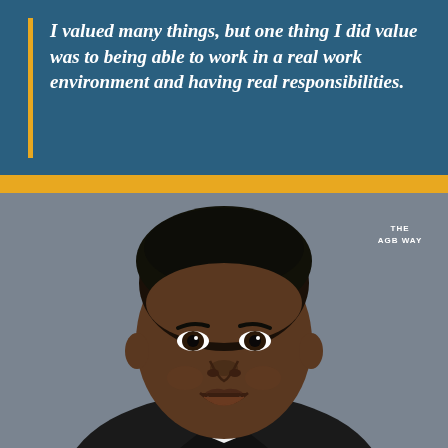I valued many things, but one thing I did value was to being able to work in a real work environment and having real responsibilities.
[Figure (photo): Headshot portrait of a young man in a suit, smiling, against a gray background. Text overlay in upper right reads 'THE AGB WAY'.]